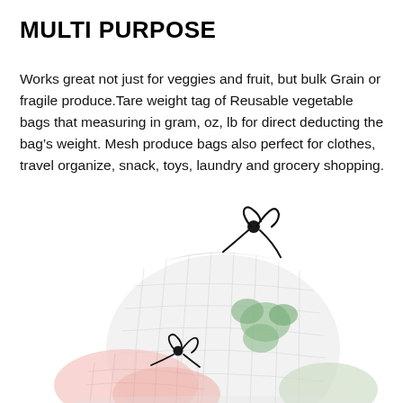MULTI PURPOSE
Works great not just for veggies and fruit, but bulk Grain or fragile produce.Tare weight tag of Reusable vegetable bags that measuring in gram, oz, lb for direct deducting the bag's weight. Mesh produce bags also perfect for clothes, travel organize, snack, toys, laundry and grocery shopping.
[Figure (photo): White mesh drawstring reusable produce bags filled with vegetables, showing black cord drawstring closures. Multiple bags stacked, with broccoli and other produce visible through the mesh fabric.]